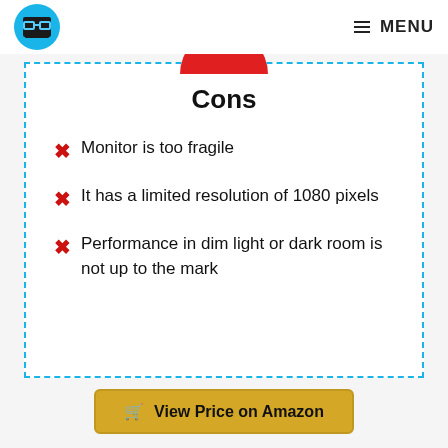MENU
Cons
Monitor is too fragile
It has a limited resolution of 1080 pixels
Performance in dim light or dark room is not up to the mark
View Price on Amazon